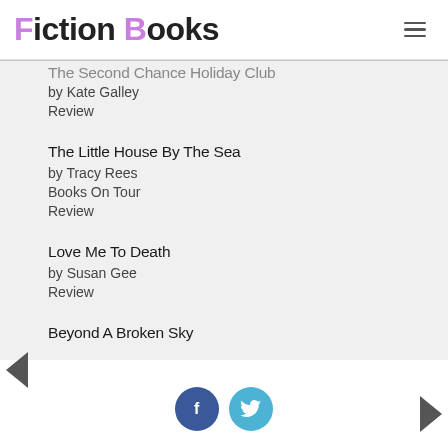Fiction Books
The Second Chance Holiday Club
by Kate Galley
Review
The Little House By The Sea
by Tracy Rees
Books On Tour
Review
Love Me To Death
by Susan Gee
Review
Beyond A Broken Sky
[Figure (other): Social media icons: Facebook (dark blue circle with 'f') and Twitter (light blue circle with bird icon), plus navigation arrows left and right]